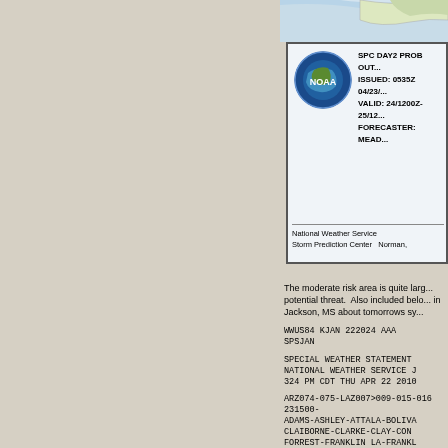[Figure (other): NOAA National Weather Service Storm Prediction Center header with logo. SPC DAY2 PROB OUTLOOK, ISSUED: 0535Z 04/23/..., VALID: 24/1200Z-25/12..., FORECASTER: MEAD..., National Weather Service Storm Prediction Center Norman,]
The moderate risk area is quite large potential threat.  Also included below in Jackson, MS about tomorrows sy...
WWUS84 KJAN 222024 AAA
SPSJAN
SPECIAL WEATHER STATEMENT
NATIONAL WEATHER SERVICE J
324 PM CDT THU APR 22 2010
ARZ074-075-LAZ007>009-015-016
231500-
ADAMS-ASHLEY-ATTALA-BOLIVA
CLAIBORNE-CLARKE-CLAY-CON
FORREST-FRANKLIN LA-FRANKL
ISSAQUENA-JASPER-JEFFERSO
LAUDERDALE-LAWRENCE-LEAK
MADISON MS-MARION-MONTGO
NOXUBEE-
OKTIBBEHA-RANKIN-RICHLAND-
TENSAS-WARREN-WASHINGTON